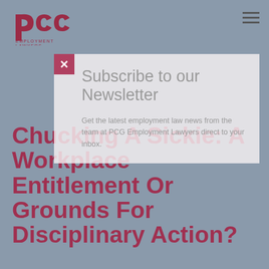[Figure (logo): PCG Employment Lawyers logo - stylized PCG letters in dark rose/maroon color with 'EMPLOYMENT LAWYERS' text below]
Subscribe to our Newsletter
Get the latest employment law news from the team at PCG Employment Lawyers direct to your inbox.
Chucking A Sickie: A Workplace Entitlement Or Grounds For Disciplinary Action?
Managing the taking of employees' personal leave can be a tricky process, especially when an employee takes regular sick days and the business suspects that they are not genuinely ill